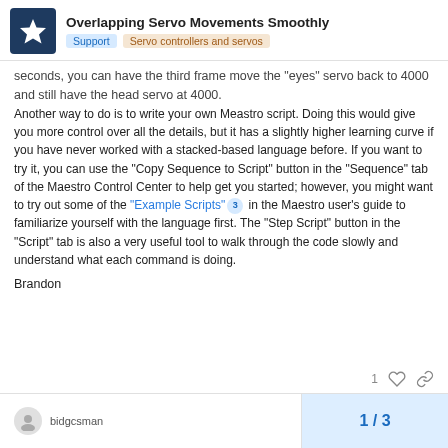Overlapping Servo Movements Smoothly | Support | Servo controllers and servos
seconds, you can have the third frame move the "eyes" servo back to 4000 and still have the head servo at 4000.
Another way to do is to write your own Meastro script. Doing this would give you more control over all the details, but it has a slightly higher learning curve if you have never worked with a stacked-based language before. If you want to try it, you can use the “Copy Sequence to Script” button in the “Sequence” tab of the Maestro Control Center to help get you started; however, you might want to try out some of the “Example Scripts” in the Maestro user’s guide to familiarize yourself with the language first. The “Step Script” button in the “Script” tab is also a very useful tool to walk through the code slowly and understand what each command is doing.
Brandon
bidgcsman | 1 / 3